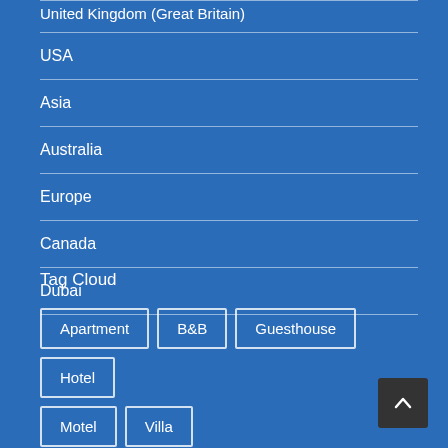United Kingdom (Great Britain)
USA
Asia
Australia
Europe
Canada
Dubai
Tag Cloud
Apartment
B&B
Guesthouse
Hotel
Motel
Villa